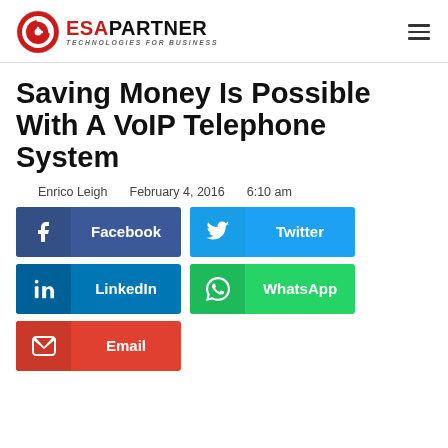ESA PARTNER — TECHNOLOGIES FOR BUSINESS
Saving Money Is Possible With A VoIP Telephone System
Enrico Leigh   February 4, 2016   6:10 am
[Figure (infographic): Social share buttons: Facebook, Twitter, LinkedIn, WhatsApp, Email]